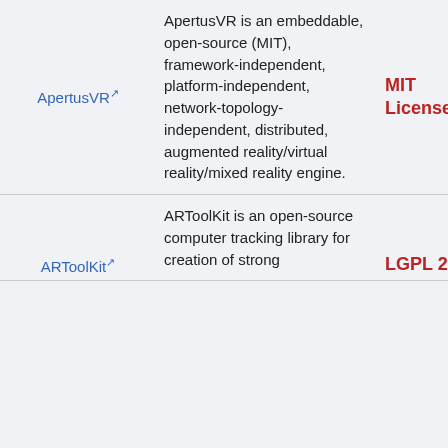| Name | Description | License |
| --- | --- | --- |
| ApertusVR | ApertusVR is an embeddable, open-source (MIT), framework-independent, platform-independent, network-topology-independent, distributed, augmented reality/virtual reality/mixed reality engine. | MIT License |
| ARToolKit | ARToolKit is an open-source computer tracking library for creation of strong | LGPL 2.0 |